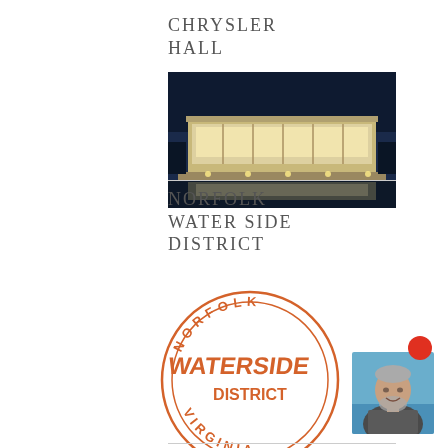CHRYSLER HALL
[Figure (photo): Night photo of a large illuminated modern building with reflection in water, likely the Kennedy Center or similar performing arts venue]
NORFOLK WATER SIDE DISTRICT
[Figure (logo): Circular stamp-style logo reading NORFOLK WATERSIDE DISTRICT VIRGINIA in orange color]
[Figure (photo): Portrait photo of an older man with gray beard outdoors near water]